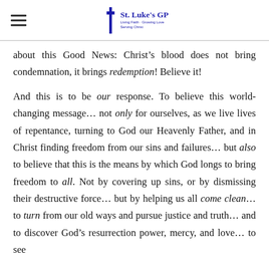St. Luke's GP — Living Faith · Growing Love · Serving Christ
about this Good News: Christ's blood does not bring condemnation, it brings redemption! Believe it!
And this is to be our response. To believe this world-changing message… not only for ourselves, as we live lives of repentance, turning to God our Heavenly Father, and in Christ finding freedom from our sins and failures… but also to believe that this is the means by which God longs to bring freedom to all. Not by covering up sins, or by dismissing their destructive force… but by helping us all come clean… to turn from our old ways and pursue justice and truth… and to discover God's resurrection power, mercy, and love… to see